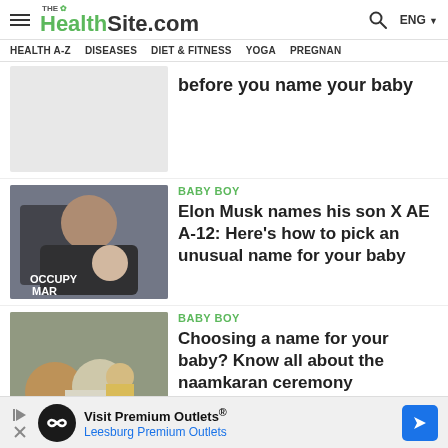THE HealthSite.com | ENG
HEALTH A-Z   DISEASES   DIET & FITNESS   YOGA   PREGNAN
before you name your baby
[Figure (photo): Placeholder article image (gray rectangle)]
BABY BOY
Elon Musk names his son X AE A-12: Here's how to pick an unusual name for your baby
[Figure (photo): Photo of a man in an OCCUPY MAR shirt holding a newborn baby]
BABY BOY
Choosing a name for your baby? Know all about the naamkaran ceremony
[Figure (photo): Photo of a family seated on the floor during a ceremony, with a baby in yellow clothes]
Visit Premium Outlets® Leesburg Premium Outlets